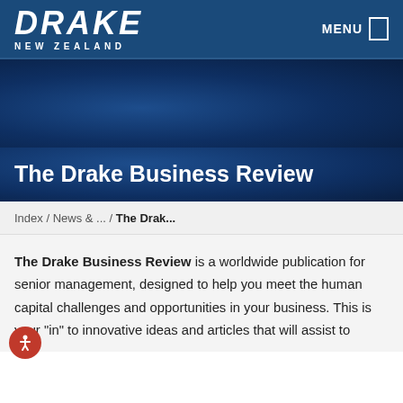DRAKE NEW ZEALAND | MENU
[Figure (illustration): Dark navy blue textured hero banner background]
The Drake Business Review
Index / News & ... / The Drak...
The Drake Business Review is a worldwide publication for senior management, designed to help you meet the human capital challenges and opportunities in your business. This is your "in" to innovative ideas and articles that will assist to